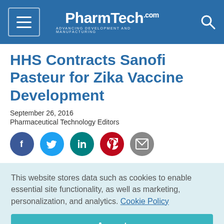PharmTech.com — Advancing Development and Manufacturing
HHS Contracts Sanofi Pasteur for Zika Vaccine Development
September 26, 2016
Pharmaceutical Technology Editors
[Figure (infographic): Five social media sharing icons in circles: Facebook (dark blue), Twitter (light blue), LinkedIn (teal), Pinterest (red), Email (gray)]
This website stores data such as cookies to enable essential site functionality, as well as marketing, personalization, and analytics. Cookie Policy
Accept
Deny